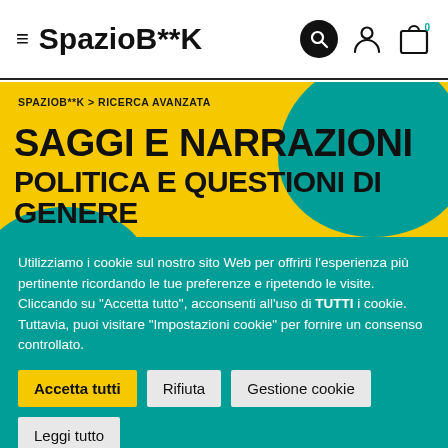≡ SpazioB**K
SPAZIOB**K > RICERCA AVANZATA
SAGGI E NARRAZIONI POLITICA E QUESTIONI DI GENERE
Utilizziamo i cookie sul nostro sito Web per offrirti l'esperienza più pertinente ricordando le tue preferenze e ripetendo le visite. Cliccando su "Accetta tutto", acconsenti all'uso di TUTTI i cookie. Tuttavia, puoi visitare "Impostazioni cookie" per fornire un consenso controllato.
Accetta tutti
Rifiuta
Gestione cookie
Leggi tutto